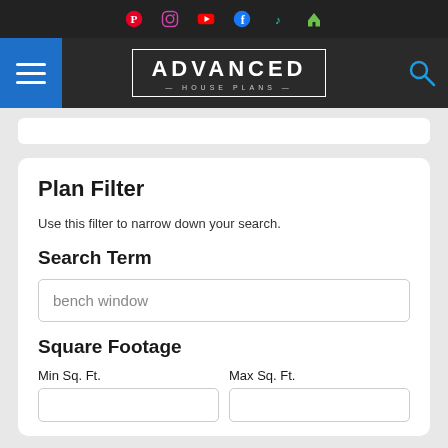Advanced House Plans website header with social media icons (Pinterest, Instagram, YouTube, Facebook, TikTok, Houzz) and navigation bar with hamburger menu, logo, and search icon
Plan Filter
Use this filter to narrow down your search.
Search Term
bench window
Square Footage
Min Sq. Ft.
Max Sq. Ft.